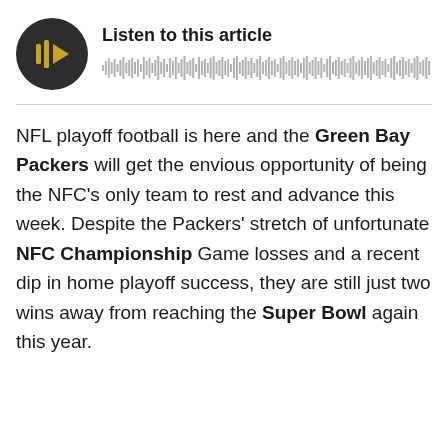[Figure (other): Audio player widget with dark circular play button showing a play icon, listen title, and waveform visualization]
NFL playoff football is here and the Green Bay Packers will get the envious opportunity of being the NFC's only team to rest and advance this week. Despite the Packers' stretch of unfortunate NFC Championship Game losses and a recent dip in home playoff success, they are still just two wins away from reaching the Super Bowl again this year.